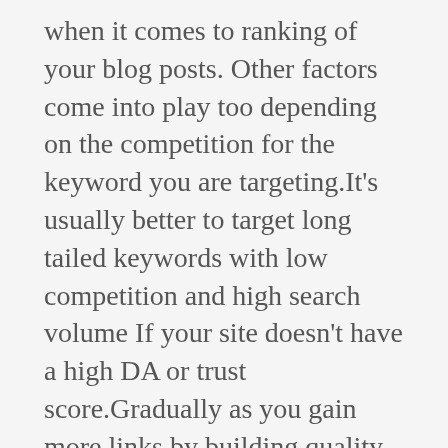when it comes to ranking of your blog posts. Other factors come into play too depending on the competition for the keyword you are targeting.It's usually better to target long tailed keywords with low competition and high search volume If your site doesn't have a high DA or trust score.Gradually as you gain more links by building quality content, you can begin to target more competitive keywords in your niche industry.
Buying backlinks to boost your blog post or website authority could hurt you in the long run. Instead, you should target long tailed low competition keywords with a reasonably high volume of search queries.